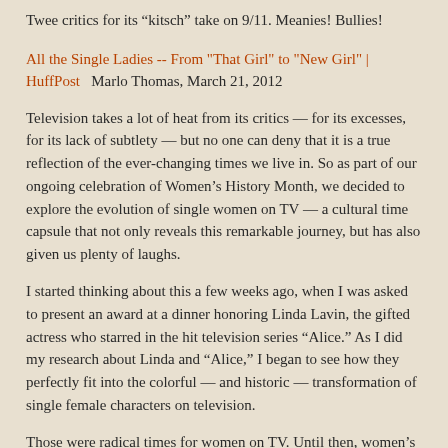Twee critics for its “kitsch” take on 9/11. Meanies! Bullies!
All the Single Ladies -- From "That Girl" to "New Girl" | HuffPost   Marlo Thomas, March 21, 2012
Television takes a lot of heat from its critics — for its excesses, for its lack of subtlety — but no one can deny that it is a true reflection of the ever-changing times we live in. So as part of our ongoing celebration of Women’s History Month, we decided to explore the evolution of single women on TV — a cultural time capsule that not only reveals this remarkable journey, but has also given us plenty of laughs.
I started thinking about this a few weeks ago, when I was asked to present an award at a dinner honoring Linda Lavin, the gifted actress who starred in the hit television series “Alice.” As I did my research about Linda and “Alice,” I began to see how they perfectly fit into the colorful — and historic — transformation of single female characters on television.
Those were radical times for women on TV. Until then, women’s